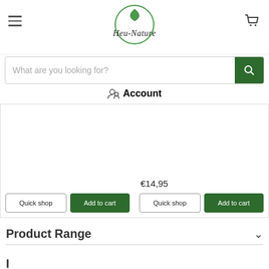[Figure (logo): Heu-Nature brand logo: circular green leaf emblem with cursive Heu-Nature text]
[Figure (screenshot): Search bar with placeholder text 'What are you looking for?' and a dark green search button with magnifying glass icon]
Account
€14,95
Quick shop
Add to cart
Quick shop
Add to cart
Product Range
Information